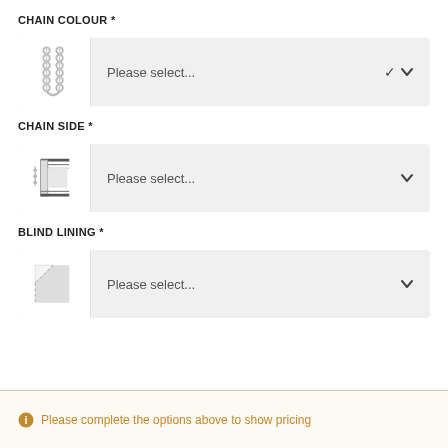CHAIN COLOUR *
[Figure (illustration): Grey ball chain illustration]
Please select...
CHAIN SIDE *
[Figure (illustration): Blind chain side bracket diagram showing C-shaped bracket]
Please select...
BLIND LINING *
[Figure (illustration): Blind lining corner illustration with dashed fold line]
Please select...
Please complete the options above to show pricing